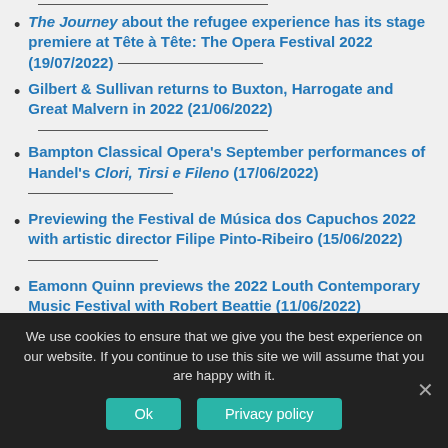The Journey about the refugee experience has its stage premiere at Tête à Tête: The Opera Festival 2022 (19/07/2022)
Gilbert & Sullivan returns to Buxton, Harrogate and Great Malvern in 2022 (21/06/2022)
Bampton Classical Opera's September performances of Handel's Clori, Tirsi e Fileno (17/06/2022)
Previewing the Festival de Música dos Capuchos 2022 with artistic director Filipe Pinto-Ribeiro (15/06/2022)
Eamonn Quinn previews the 2022 Louth Contemporary Music Festival with Robert Beattie (11/06/2022)
We use cookies to ensure that we give you the best experience on our website. If you continue to use this site we will assume that you are happy with it.